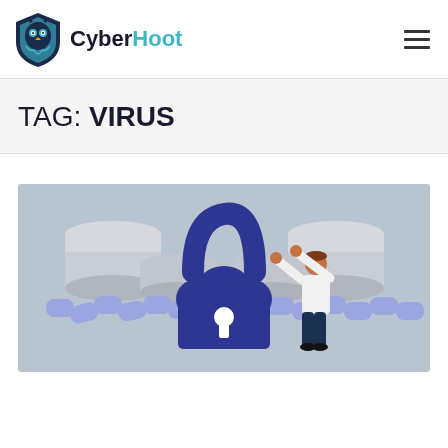CyberHoot
TAG: VIRUS
[Figure (illustration): Illustration showing a large dark blue padlock with a keyhole, surrounded by gray database cylinder stacks and a purple chain, with a person in white shirt and dark pants reaching up toward the padlock. Background is light gray-blue.]